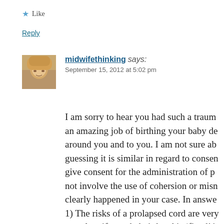★ Like
Reply
midwifethinking says: September 15, 2012 at 5:02 pm
I am sorry to hear you had such a traum an amazing job of birthing your baby de around you and to you. I am not sure ab guessing it is similar in regard to conser give consent for the administration of p not involve the use of cohersion or misr clearly happened in your case. In answe 1) The risks of a prolapsed cord are ver even less if your baby's head is 'fixed' in at term. If a cord prolapse happened yo vagina, or see the cord, or it may just be would not know. If there is a cord prolap